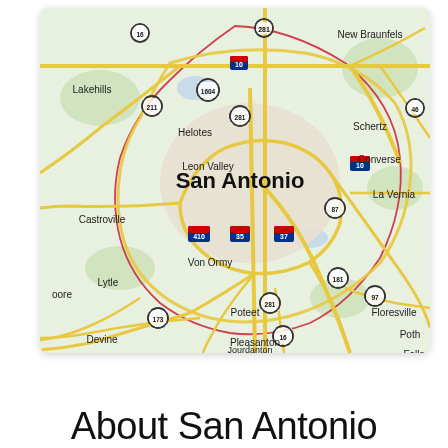[Figure (map): Google Maps screenshot showing San Antonio, Texas and surrounding cities including New Braunfels, Schertz, Converse, La Vernia, Floresville, Poth, Pleasanton, Poteet, Von Ormy, Lytle, Devine, Castroville, Helotes, Leon Valley, Lakehills. Major highways shown include I-10, I-35, I-37, I-410, US-281, US-87, US-181, US-97, TX-173, TX-16, TX-1604, TX-211, TX-46. A red boundary line outlines the city limits of San Antonio.]
About San Antonio